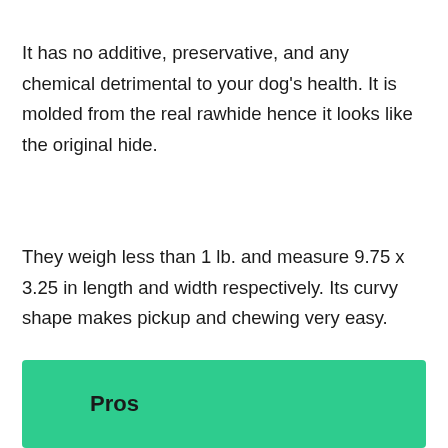It has no additive, preservative, and any chemical detrimental to your dog's health. It is molded from the real rawhide hence it looks like the original hide.
They weigh less than 1 lb. and measure 9.75 x 3.25 in length and width respectively. Its curvy shape makes pickup and chewing very easy.
Pros